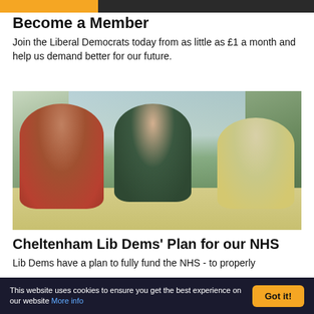[Figure (photo): Top banner strip with gold/orange left portion and dark right portion showing partial images]
Become a Member
Join the Liberal Democrats today from as little as £1 a month and help us demand better for our future.
[Figure (photo): Three people sitting around a kitchen table having a conversation. On the left is an older man in a red sweater, in the middle is a bald man in a dark green jumper, on the right is an older woman in a light yellow cardigan. There are cups and plates on the table, and a window with garden view behind them.]
Cheltenham Lib Dems' Plan for our NHS
Lib Dems have a plan to fully fund the NHS - to properly
This website uses cookies to ensure you get the best experience on our website More info
Got it!